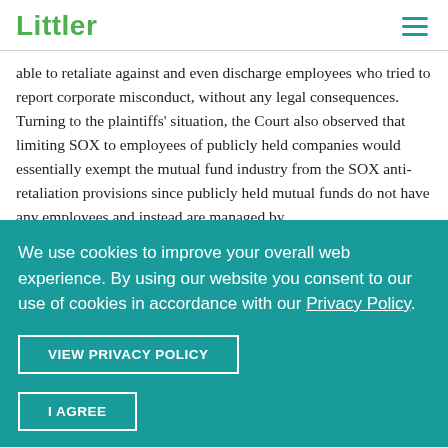Littler
able to retaliate against and even discharge employees who tried to report corporate misconduct, without any legal consequences.  Turning to the plaintiffs' situation, the Court also observed that limiting SOX to employees of publicly held companies would essentially exempt the mutual fund industry from the SOX anti-retaliation provisions since publicly held mutual funds do not have any employees and instead are managed by
We use cookies to improve your overall web experience. By using our website you consent to our use of cookies in accordance with our Privacy Policy.
VIEW PRIVACY POLICY
I AGREE